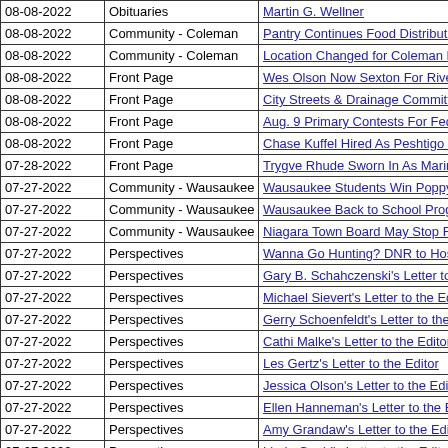| Date | Section | Article |
| --- | --- | --- |
| 08-08-2022 | Obituaries | Martin G. Wellner |
| 08-08-2022 | Community - Coleman | Pantry Continues Food Distribution Procedures |
| 08-08-2022 | Community - Coleman | Location Changed for Coleman FFA Alumni Annu… |
| 08-08-2022 | Front Page | Wes Olson Now Sexton For Riverside Cemetery |
| 08-08-2022 | Front Page | City Streets & Drainage Committee Okays Permi… |
| 08-08-2022 | Front Page | Aug. 9 Primary Contests For Federal, State, Cou… |
| 08-08-2022 | Front Page | Chase Kuffel Hired As Peshtigo City Engineer |
| 07-28-2022 | Front Page | Trygve Rhude Sworn In As Marinette County Sup… |
| 07-27-2022 | Community - Wausaukee | Wausaukee Students Win Poppy Poster Contest |
| 07-27-2022 | Community - Wausaukee | Wausaukee Back to School Program Now Regist… |
| 07-27-2022 | Community - Wausaukee | Niagara Town Board May Stop Renting Town Hal… |
| 07-27-2022 | Perspectives | Wanna Go Hunting? DNR to Host Intro To Huntin… |
| 07-27-2022 | Perspectives | Gary B. Schahczenski's Letter to the Editor |
| 07-27-2022 | Perspectives | Michael Sievert's Letter to the Editor |
| 07-27-2022 | Perspectives | Gerry Schoenfeldt's Letter to the Editor |
| 07-27-2022 | Perspectives | Cathi Malke's Letter to the Editor |
| 07-27-2022 | Perspectives | Les Gertz's Letter to the Editor |
| 07-27-2022 | Perspectives | Jessica Olson's Letter to the Editor |
| 07-27-2022 | Perspectives | Ellen Hanneman's Letter to the Editor |
| 07-27-2022 | Perspectives | Amy Grandaw's Letter to the Editor |
| 07-27-2022 | Perspectives | Linda Gould's Letter to the Editor |
| 07-27-2022 | Perspectives | Bob Blackbourn's Letter to the Editor |